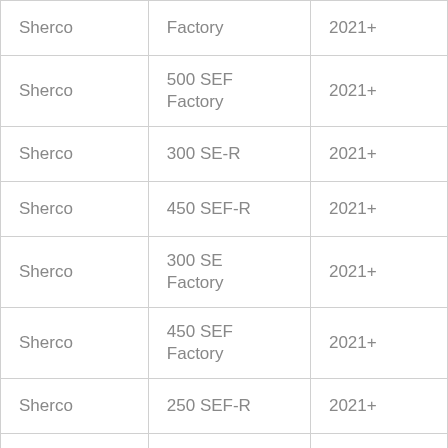| Sherco | Factory | 2021+ |
| Sherco | 500 SEF Factory | 2021+ |
| Sherco | 300 SE-R | 2021+ |
| Sherco | 450 SEF-R | 2021+ |
| Sherco | 300 SE Factory | 2021+ |
| Sherco | 450 SEF Factory | 2021+ |
| Sherco | 250 SEF-R | 2021+ |
| Sherco | 300 SEF-R | 2021+ |